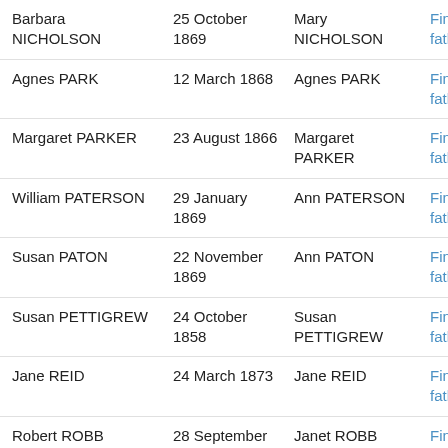| Name | Date | Mother | Action |
| --- | --- | --- | --- |
| Barbara NICHOLSON | 25 October 1869 | Mary NICHOLSON | Find the father |
| Agnes PARK | 12 March 1868 | Agnes PARK | Find the father |
| Margaret PARKER | 23 August 1866 | Margaret PARKER | Find the father |
| William PATERSON | 29 January 1869 | Ann PATERSON | Find the father |
| Susan PATON | 22 November 1869 | Ann PATON | Find the father |
| Susan PETTIGREW | 24 October 1858 | Susan PETTIGREW | Find the father |
| Jane REID | 24 March 1873 | Jane REID | Find the father |
| Robert ROBB | 28 September 1873 | Janet ROBB | Find the father |
| Isabella ROBERTSON | 26 February 1858 | Margaret ROBERTSON | Find the father |
| John ROBERTSON | 7 May 1855 | Margaret ROBERTSON | Find the father |